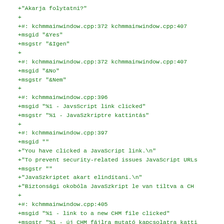+"Akarja folytatni?"
+
+#: kchmmainwindow.cpp:372 kchmmainwindow.cpp:407
+msgid "&Yes"
+msgstr "&Igen"
+
+#: kchmmainwindow.cpp:372 kchmmainwindow.cpp:407
+msgid "&No"
+msgstr "&Nem"
+
+#: kchmmainwindow.cpp:396
+msgid "%1 - JavsScript link clicked"
+msgstr "%1 - JavaSzkriptre kattintás"
+
+#: kchmmainwindow.cpp:397
+msgid ""
+"You have clicked a JavaScript link.\n"
+"To prevent security-related issues JavaScript URLs
+msgstr ""
+"JavaSzkriptet akart elindítani.\n"
+"Biztonsági okobóla JavaSzkript le van tiltva a CH
+
+#: kchmmainwindow.cpp:405
+msgid "%1 - link to a new CHM file clicked"
+msgstr "%1 - új CHM fájlra mutató kapcsolatra katti
+
+#: kchmmainwindow.cpp:406
+msgid ""
+"You have clicked a link, which leads to a new CHM
+"The current file will be closed.\n"